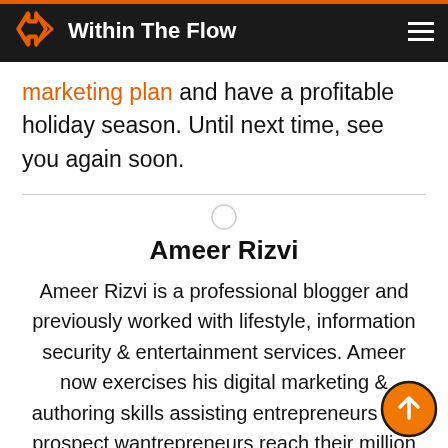Within The Flow
marketing plan and have a profitable holiday season. Until next time, see you again soon.
Ameer Rizvi
Ameer Rizvi is a professional blogger and previously worked with lifestyle, information security & entertainment services. Ameer now exercises his digital marketing & authoring skills assisting entrepreneurs and prospect wantrepreneurs reach their million dollar A loyal Liverpool FC fan, EDM fanatic, geo-